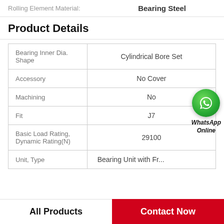Rolling Element Material: Bearing Steel
Product Details
| Property | Value |
| --- | --- |
| Bearing Inner Dia. Shape | Cylindrical Bore Set |
| Accessory | No Cover |
| Machining | No |
| Fit | J7 |
| Basic Load Rating, Dynamic Rating(N) | 29100 |
| Unit, Type | Bearing Unit with Fr... |
[Figure (logo): WhatsApp Online green phone icon with label]
All Products    Contact Now